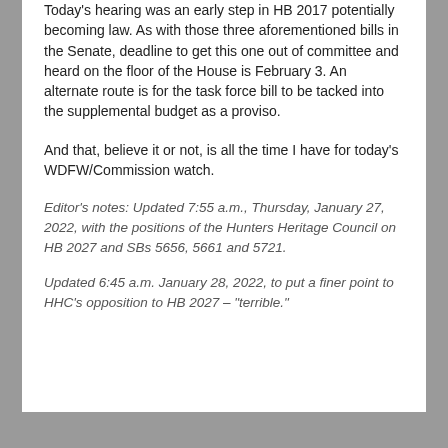Today's hearing was an early step in HB 2017 potentially becoming law. As with those three aforementioned bills in the Senate, deadline to get this one out of committee and heard on the floor of the House is February 3. An alternate route is for the task force bill to be tacked into the supplemental budget as a proviso.
And that, believe it or not, is all the time I have for today's WDFW/Commission watch.
Editor's notes: Updated 7:55 a.m., Thursday, January 27, 2022, with the positions of the Hunters Heritage Council on HB 2027 and SBs 5656, 5661 and 5721.
Updated 6:45 a.m. January 28, 2022, to put a finer point to HHC's opposition to HB 2027 – "terrible."